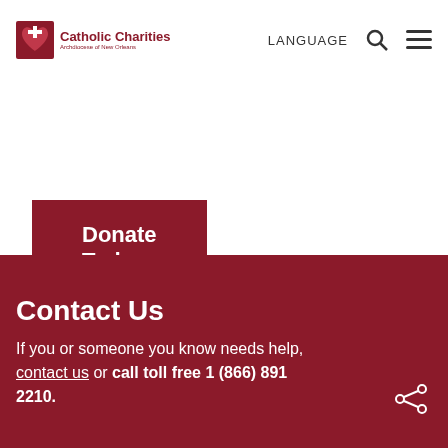[Figure (logo): Catholic Charities logo with red heart and cross icon, organization name in dark red]
LANGUAGE
Donate Today
Contact Us
If you or someone you know needs help, contact us or call toll free 1 (866) 891 2210.